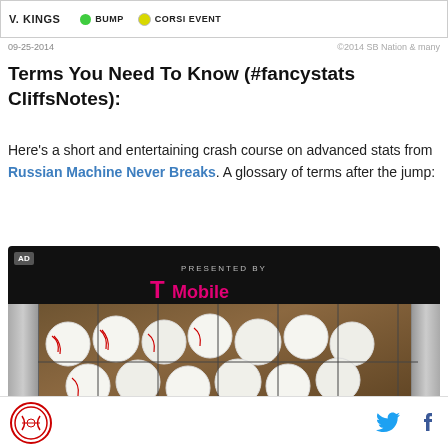[Figure (screenshot): Top navigation bar showing V. KINGS matchup with BUMP and CORSI EVENT indicators]
09-25-2014 ©2014 SB Nation & many
Terms You Need To Know (#fancystats CliffsNotes):
Here's a short and entertaining crash course on advanced stats from Russian Machine Never Breaks. A glossary of terms after the jump:
[Figure (photo): Advertisement block with AD label, PRESENTED BY T-Mobile header, and photo of baseballs in a ball bucket]
Site logo with Twitter and Facebook social icons